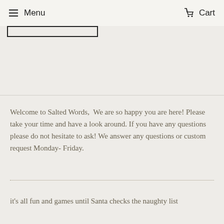Menu   Cart
Welcome to Salted Words,  We are so happy you are here! Please take your time and have a look around. If you have any questions please do not hesitate to ask! We answer any questions or custom request Monday- Friday.
it's all fun and games until Santa checks the naughty list